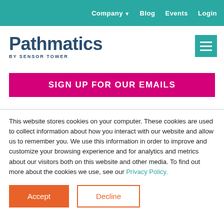Company  Blog  Events  Login
[Figure (logo): Pathmatics by Sensor Tower logo with teal hamburger menu icon]
SIGN UP FOR OUR EMAILS
This website stores cookies on your computer. These cookies are used to collect information about how you interact with our website and allow us to remember you. We use this information in order to improve and customize your browsing experience and for analytics and metrics about our visitors both on this website and other media. To find out more about the cookies we use, see our Privacy Policy.
Accept  Decline